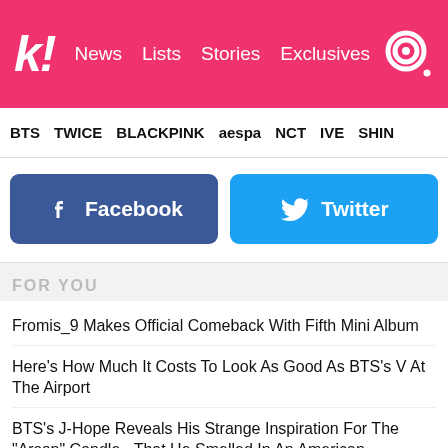koreaboo | News  Lists  Stories  Exclusives
BTS  TWICE  BLACKPINK  aespa  NCT  IVE  SHIN…
[Figure (other): Facebook share button (blue rounded rectangle with Facebook icon and text 'Facebook')]
[Figure (other): Twitter share button (light blue rounded rectangle with Twitter bird icon and text 'Twitter')]
FOR YOU
Fromis_9 Makes Official Comeback With Fifth Mini Album
Here's How Much It Costs To Look As Good As BTS's V At The Airport
BTS's J-Hope Reveals His Strange Inspiration For The "Arson" Candle...That He Smelled In An American Bathroom